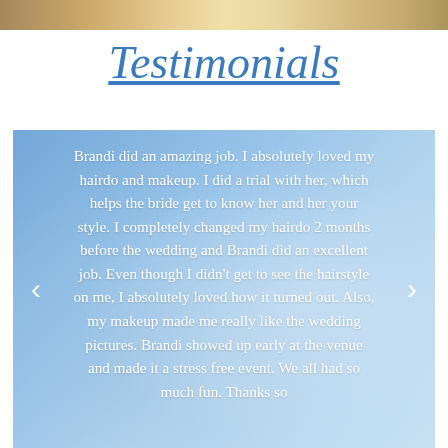[Figure (photo): Top portion of a photo showing wedding-related imagery, partially cropped]
Testimonials
[Figure (photo): Blue-tinted blurred background photo used as testimonial section background, with navigation arrows on left and right]
Brandi did an amazing job. I absolutely loved my hairdo and makeup. I did a trial with her, which helps the bride get to know her and her your style. I completely changed my hairdo 2 months before the wedding and Brandi did an excellent job. Even though I didn't get to see the hairstyle on me, I absolutely loved how it turned out. Also, my makeup made me really like the wedding pictures. Brandi showed up early at the venue and made it a stress free event. We all had so much fun. Thanks so